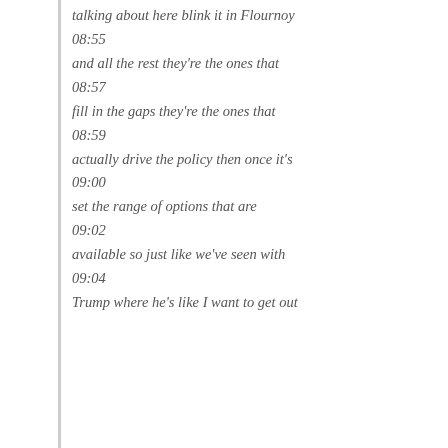talking about here blink it in Flournoy
08:55
and all the rest they're the ones that
08:57
fill in the gaps they're the ones that
08:59
actually drive the policy then once it's
09:00
set the range of options that are
09:02
available so just like we've seen with
09:04
Trump where he's like I want to get out